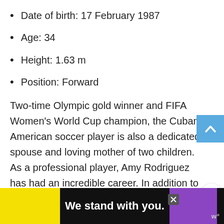Date of birth: 17 February 1987
Age: 34
Height: 1.63 m
Position: Forward
Two-time Olympic gold winner and FIFA Women's World Cup champion, the Cuban-American soccer player is also a dedicated spouse and loving mother of two children. As a professional player, Amy Rodriguez has had an incredible career. In addition to winning a gold medal in the FIFA Women's World Cup and two Olympic golds, she has
[Figure (other): Advertisement banner at the bottom: black background with yellow section on left, bold white text 'We stand with you.', purple section, and close/branding icons.]